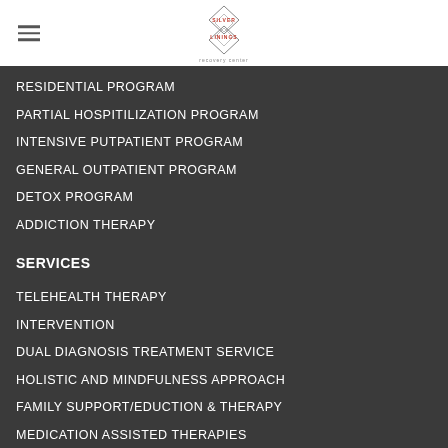[Figure (logo): Silver Linings Recovery Center logo - diamond/geometric shapes with company name in red and gray text]
RESIDENTIAL PROGRAM
PARTIAL HOSPITILIZATION PROGRAM
INTENSIVE PUTPATIENT PROGRAM
GENERAL OUTPATIENT PROGRAM
DETOX PROGRAM
ADDICTION THERAPY
SERVICES
TELEHEALTH THERAPY
INTERVENTION
DUAL DIAGNOSIS TREATMENT SERVICE
HOLISTIC AND MINDFULNESS APPROACH
FAMILY SUPPORT/EDUCTION & THERAPY
MEDICATION ASSISTED THERAPIES
LIFE SKILLS DEVELOPMENT